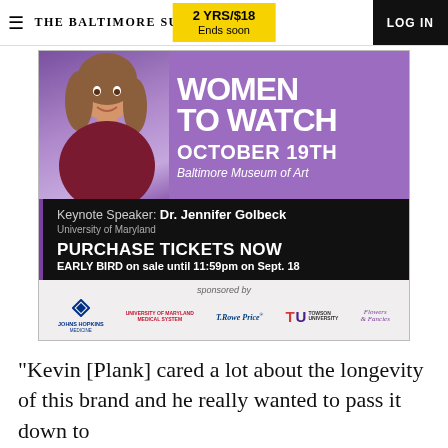THE BALTIMORE SUN | 2 YRS/$18 Ends soon | LOG IN
[Figure (infographic): Women to Watch event advertisement. Purple banner with woman photo, text: WOMEN TO WATCH, OCTOBER 19TH, Baltimore Museum of Art. Black section: Keynote Speaker: Dr. Jennifer Golbeck, University of Maryland, PURCHASE TICKETS NOW, EARLY BIRD on sale until 11:59pm on Sept. 18. Sponsors: Johns Hopkins, University of Maryland Medical System, T.Rowe Price, Towson University, Flowers & Fancies.]
“Kevin [Plank] cared a lot about the longevity of this brand and he really wanted to pass it down to
ADVERTISEMENT
[Figure (infographic): Advertisement: Join us for an Exciting Press Announcement - African Diaspora Maritime, with colorful diagonal stripe graphic on right side.]